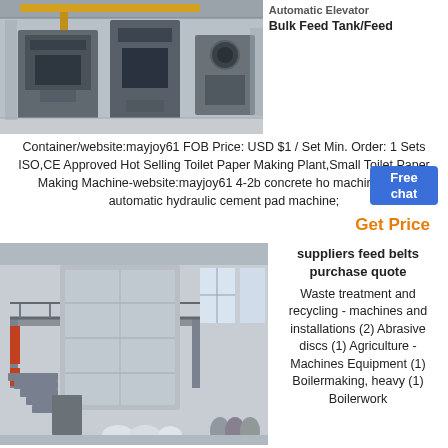[Figure (photo): Industrial press/hydraulic machine in a factory setting with yellow overhead crane structure visible]
Automatic Elevator Bulk Feed Tank/Feed
Container/website:mayjoy61 FOB Price: USD $1 / Set Min. Order: 1 Sets ISO,CE Approved Hot Selling Toilet Paper Making Plant,Small Toilet Paper Making Machine-website:mayjoy61 4-2b concrete hole machine semi automatic hydraulic cement pad machine;
Get Price
[Figure (photo): Industrial facility interior showing a large multi-level structure with tanks, stairs and processing equipment]
suppliers feed belts purchase quote
Waste treatment and recycling - machines and installations (2) Abrasive discs (1) Agriculture - Machines Equipment (1) Boilermaking, heavy (1) Boilerwork